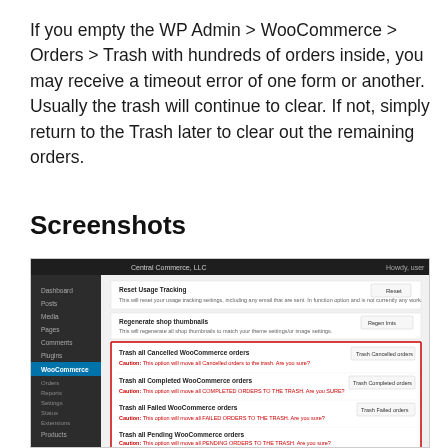If you empty the WP Admin > WooCommerce > Orders > Trash with hundreds of orders inside, you may receive a timeout error of one form or another. Usually the trash will continue to clear. If not, simply return to the Trash later to clear out the remaining orders.
Screenshots
[Figure (screenshot): Screenshot of WordPress admin WooCommerce settings page showing options to trash cancelled, completed, failed, pending, and refunded WooCommerce orders, each with a corresponding action button. The trash order sections are highlighted with a red border.]